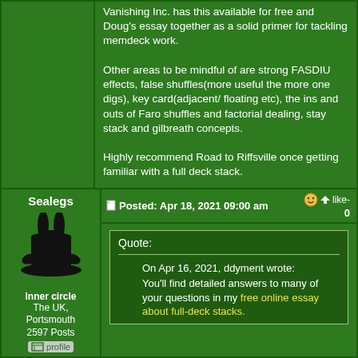Vanishing Inc. has this available for free and Doug's essay together as a solid primer for tackling memdeck work.

Other areas to be mindful of are strong FASDIU effects, false shuffles(more useful the more one digs), key card(adjacent/floating etc), the ins and outs of Faro shuffles and factorial dealing, stay stack and gilbreath concepts.

Highly recommend Road to Riffsville once getting familiar with a full deck stack.
Posted: Apr 18, 2021 09:00 am
Sealegs
Inner circle
The UK, Portsmouth
2597 Posts
Quote:
On Apr 16, 2021, ddyment wrote:
You'll find detailed answers to many of your questions in my free online essay about full-deck stacks.